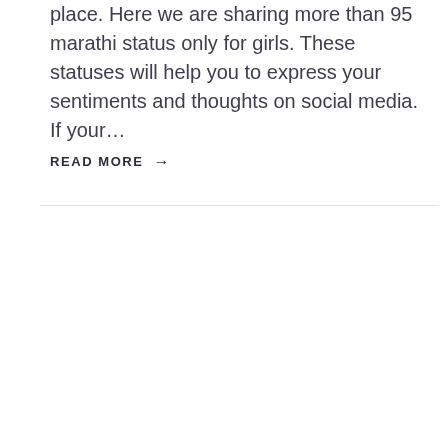place. Here we are sharing more than 95 marathi status only for girls. These statuses will help you to express your sentiments and thoughts on social media. If your…
READ MORE →